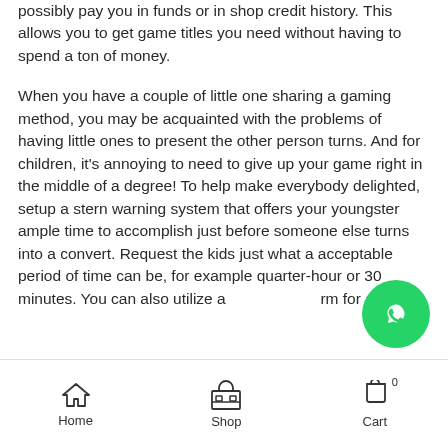possibly pay you in funds or in shop credit history. This allows you to get game titles you need without having to spend a ton of money.
When you have a couple of little one sharing a gaming method, you may be acquainted with the problems of having little ones to present the other person turns. And for children, it's annoying to need to give up your game right in the middle of a degree! To help make everybody delighted, setup a stern warning system that offers your youngster ample time to accomplish just before someone else turns into a convert. Request the kids just what a acceptable period of time can be, for example quarter-hour or 30 minutes. You can also utilize a timer for alerts.
[Figure (other): WhatsApp floating action button (green circle with WhatsApp phone/chat icon)]
Home  Shop  Cart 0